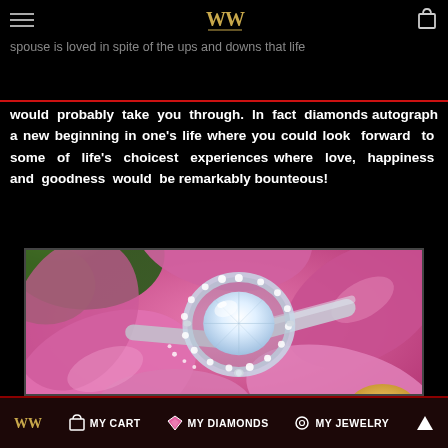WW logo / hamburger menu / bag icon
anniversary wedding rings would speak more than words. This is a way of re-emphasizing how much your spouse is loved in spite of the ups and downs that life would probably take you through. In fact diamonds autograph a new beginning in one's life where you could look forward to some of life's choicest experiences where love, happiness and goodness would be remarkably bounteous!
[Figure (photo): Close-up photograph of a diamond halo engagement ring resting against large pink flower petals with green foliage in the background. The ring features a large oval/cushion-cut center diamond surrounded by a halo of smaller diamonds on a pavé band.]
WW logo | MY CART | MY DIAMONDS | MY JEWELRY | up arrow